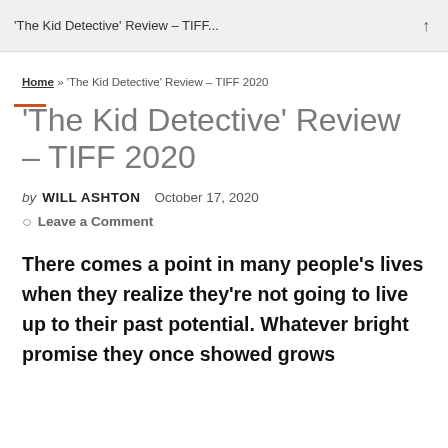'The Kid Detective' Review – TIFF...
Home » 'The Kid Detective' Review – TIFF 2020
'The Kid Detective' Review – TIFF 2020
by WILL ASHTON   October 17, 2020
Leave a Comment
There comes a point in many people's lives when they realize they're not going to live up to their past potential. Whatever bright promise they once showed grows